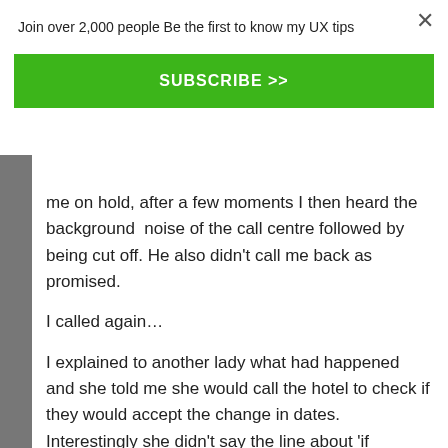Join over 2,000 people Be the first to know my UX tips
SUBSCRIBE >>
me on hold, after a few moments I then heard the background  noise of the call centre followed by being cut off. He also didn't call me back as promised.
I called again…
I explained to another lady what had happened and she told me she would call the hotel to check if they would accept the change in dates. Interestingly she didn't say the line about 'if you have to off'llh calling should